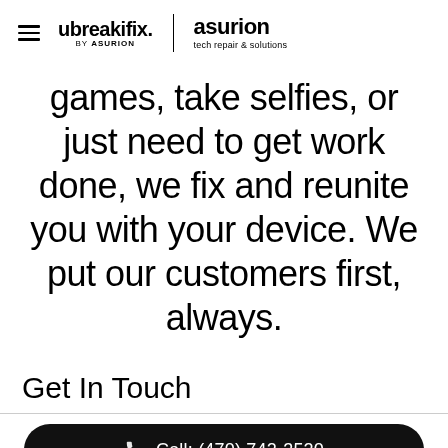ubreakifix. by asurion | asurion tech repair & solutions
games, take selfies, or just need to get work done, we fix and reunite you with your device. We put our customers first, always.
Get In Touch
Call: (470) 742-3520